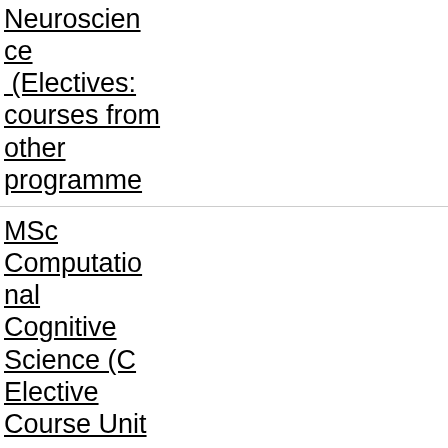Neuroscience (Electives: courses from other programmes
MSc Computational Cognitive Science (C Elective Course Unit
MSc Computational Cognitive Science (B Mandatory Course Unit Cognitive Modelling)
MSc Computational Cognitive Science (B Mandatory Course Unit